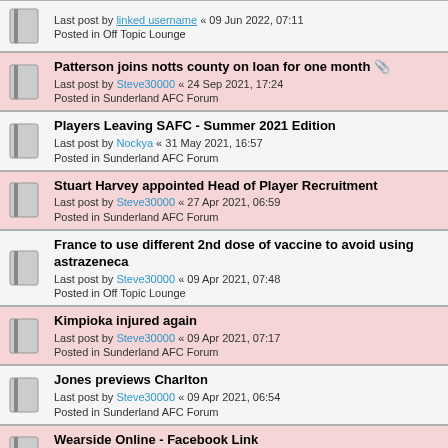Last post by [linked] « 09 Jun 2022, 07:11 | Posted in Off Topic Lounge
Patterson joins notts county on loan for one month
Last post by Steve30000 « 24 Sep 2021, 17:24
Posted in Sunderland AFC Forum
Players Leaving SAFC - Summer 2021 Edition
Last post by Nockya « 31 May 2021, 16:57
Posted in Sunderland AFC Forum
Stuart Harvey appointed Head of Player Recruitment
Last post by Steve30000 « 27 Apr 2021, 06:59
Posted in Sunderland AFC Forum
France to use different 2nd dose of vaccine to avoid using astrazeneca
Last post by Steve30000 « 09 Apr 2021, 07:48
Posted in Off Topic Lounge
Kimpioka injured again
Last post by Steve30000 « 09 Apr 2021, 07:17
Posted in Sunderland AFC Forum
Jones previews Charlton
Last post by Steve30000 « 09 Apr 2021, 06:54
Posted in Sunderland AFC Forum
Wearside Online - Facebook Link
Last post by Mighty Quinn « 29 Mar 2021, 14:44
Posted in All Notices And Board Announcements Here
Let's hope it's not an after the lord mayor's performance tonight
Last post by Steve30000 « 10 Mar 2021, 11:55